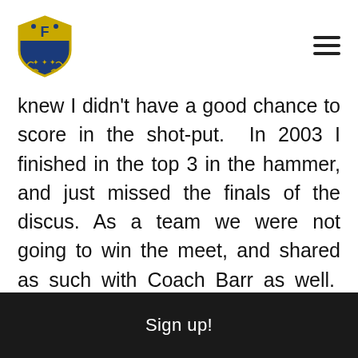[Forza Atletica logo and navigation menu]
knew I didn't have a good chance to score in the shot-put. In 2003 I finished in the top 3 in the hammer, and just missed the finals of the discus. As a team we were not going to win the meet, and shared as such with Coach Barr as well. After I shared my plan with him, he agreed to de-emphasize the shot-put and focus more time on the discus. Looking back at my training journal from that outdoor season, my throwing time was about 60% hammer, 30% discus, and 10%. When it was decided I wasn't going to throw the shot-put at the
Sign up!